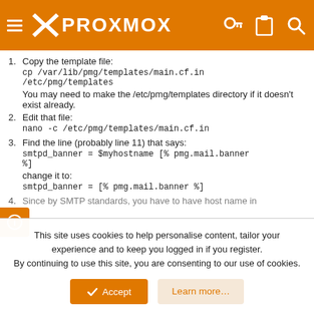PROXMOX (navigation header with hamburger menu, key icon, clipboard icon, search icon)
1. Copy the template file:
cp /var/lib/pmg/templates/main.cf.in /etc/pmg/templates
You may need to make the /etc/pmg/templates directory if it doesn't exist already.
2. Edit that file:
nano -c /etc/pmg/templates/main.cf.in
3. Find the line (probably line 11) that says:
smtpd_banner = $myhostname [% pmg.mail.banner %]
change it to:
smtpd_banner = [% pmg.mail.banner %]
4. Since by SMTP standards, you have to have host name in
This site uses cookies to help personalise content, tailor your experience and to keep you logged in if you register.
By continuing to use this site, you are consenting to our use of cookies.